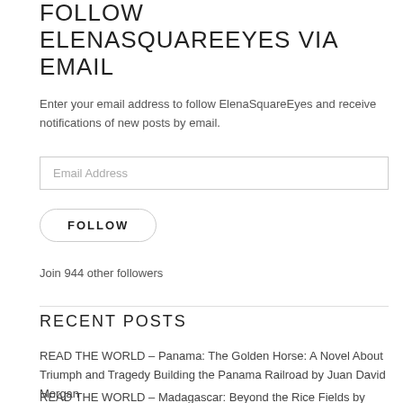FOLLOW ELENASQUAREEYES VIA EMAIL
Enter your email address to follow ElenaSquareEyes and receive notifications of new posts by email.
Email Address
FOLLOW
Join 944 other followers
RECENT POSTS
READ THE WORLD – Panama: The Golden Horse: A Novel About Triumph and Tragedy Building the Panama Railroad by Juan David Morgan
READ THE WORLD – Madagascar: Beyond the Rice Fields by